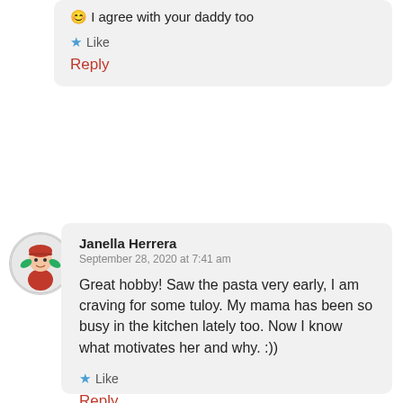😊 I agree with your daddy too
★ Like
Reply
[Figure (illustration): Circular avatar image of Janella Herrera showing a cartoon character with red outfit and green plants]
Janella Herrera
September 28, 2020 at 7:41 am
Great hobby! Saw the pasta very early, I am craving for some tuloy. My mama has been so busy in the kitchen lately too. Now I know what motivates her and why. :))
★ Like
Reply